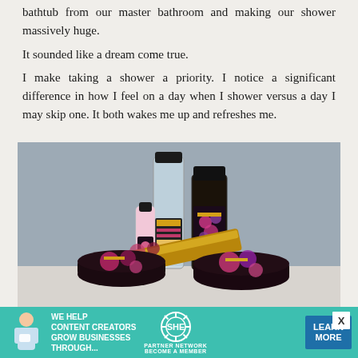bathtub from our master bathroom and making our shower massively huge.
It sounded like a dream come true.
I make taking a shower a priority. I notice a significant difference in how I feel on a day when I shower versus a day I may skip one. It both wakes me up and refreshes me.
[Figure (photo): Photo of luxury bath/beauty products including bottles and jars with floral black and pink packaging, arranged on a light grey surface.]
[Figure (infographic): Advertisement banner for SHE Media Partner Network. Teal background with white text: 'WE HELP CONTENT CREATORS GROW BUSINESSES THROUGH...' with SHE logo and a 'LEARN MORE' blue button. Image of woman on left.]